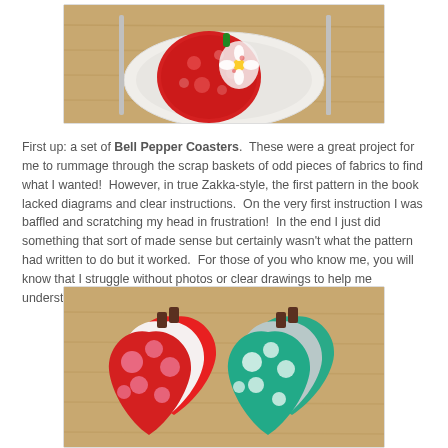[Figure (photo): Photo showing red and patterned bell pepper coasters on a white plate with utensils on a wooden table surface — top portion cropped]
First up: a set of Bell Pepper Coasters.  These were a great project for me to rummage through the scrap baskets of odd pieces of fabrics to find what I wanted!  However, in true Zakka-style, the first pattern in the book lacked diagrams and clear instructions.  On the very first instruction I was baffled and scratching my head in frustration!  In the end I just did something that sort of made sense but certainly wasn't what the pattern had written to do but it worked.  For those of you who know me, you will know that I struggle without photos or clear drawings to help me understand the words!
[Figure (photo): Photo showing two sets of bell pepper coasters on a wooden surface — one set in red polka-dot and floral patterns, another in teal/green polka-dot patterns]